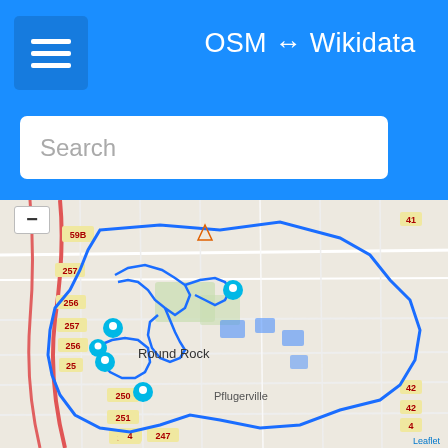OSM ↔ Wikidata
Search
[Figure (map): OpenStreetMap showing Round Rock, Texas area with blue boundary outlines and location markers. Shows roads, Pflugerville label, route numbers (59B, 257, 256, 250, 251, 248, 247, 246, 245), and 'Round Rock' label. Blue polygon outlines indicate city boundaries with cyan/teal location pin markers inside.]
Rock's largest master-planned, multi-use commercial business-retail-housing center and is located at the northwest corner of SH 45 Toll Road and Interstate 35 in Round Rock, Texas within Williamson County, Texas. La Frontera is also located immediately across Interstate 35 from the Dell international headquarters. The name "La Frontera" means "the border" or